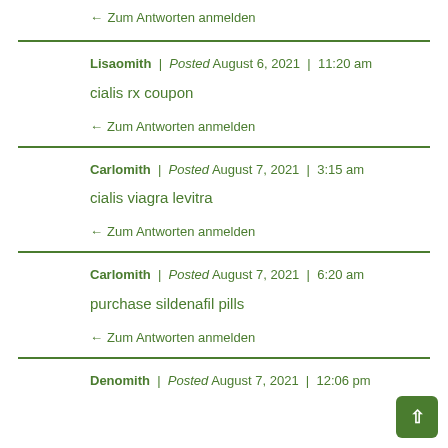← Zum Antworten anmelden
Lisaomith | Posted August 6, 2021 | 11:20 am
cialis rx coupon
← Zum Antworten anmelden
Carlomith | Posted August 7, 2021 | 3:15 am
cialis viagra levitra
← Zum Antworten anmelden
Carlomith | Posted August 7, 2021 | 6:20 am
purchase sildenafil pills
← Zum Antworten anmelden
Denomith | Posted August 7, 2021 | 12:06 pm